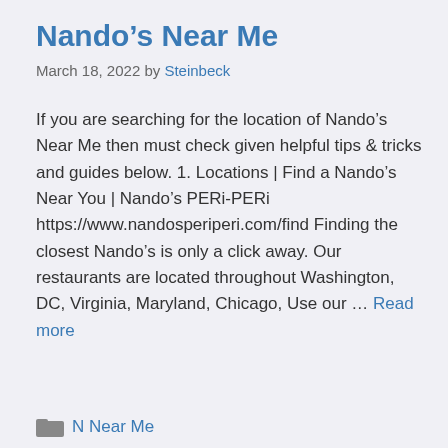Nando’s Near Me
March 18, 2022 by Steinbeck
If you are searching for the location of Nando’s Near Me then must check given helpful tips & tricks and guides below. 1. Locations | Find a Nando’s Near You | Nando’s PERi-PERi https://www.nandosperiperi.com/find Finding the closest Nando’s is only a click away. Our restaurants are located throughout Washington, DC, Virginia, Maryland, Chicago, Use our … Read more
N Near Me